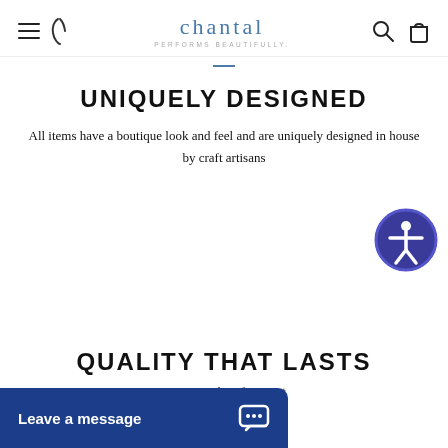chantal PERFORMS BEAUTIFULLY
UNIQUELY DESIGNED
All items have a boutique look and feel and are uniquely designed in house by craft artisans
[Figure (illustration): Circular accessibility icon with person figure inside, dark blue/purple background]
QUALITY THAT LASTS
ce your carbon footprint
[Figure (other): Leave a message chat widget button in dark blue at bottom left]